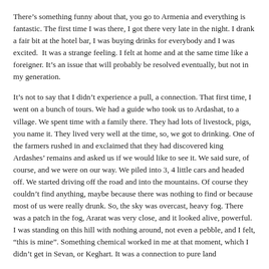There's something funny about that, you go to Armenia and everything is fantastic. The first time I was there, I got there very late in the night. I drank a fair bit at the hotel bar, I was buying drinks for everybody and I was excited.  It was a strange feeling. I felt at home and at the same time like a foreigner. It's an issue that will probably be resolved eventually, but not in my generation.
It's not to say that I didn't experience a pull, a connection. That first time, I went on a bunch of tours. We had a guide who took us to Ardashat, to a village. We spent time with a family there. They had lots of livestock, pigs, you name it. They lived very well at the time, so, we got to drinking. One of the farmers rushed in and exclaimed that they had discovered king Ardashes' remains and asked us if we would like to see it. We said sure, of course, and we were on our way. We piled into 3, 4 little cars and headed off. We started driving off the road and into the mountains. Of course they couldn't find anything, maybe because there was nothing to find or because most of us were really drunk. So, the sky was overcast, heavy fog. There was a patch in the fog, Ararat was very close, and it looked alive, powerful. I was standing on this hill with nothing around, not even a pebble, and I felt, "this is mine". Something chemical worked in me at that moment, which I didn't get in Sevan, or Keghart. It was a connection to pure land